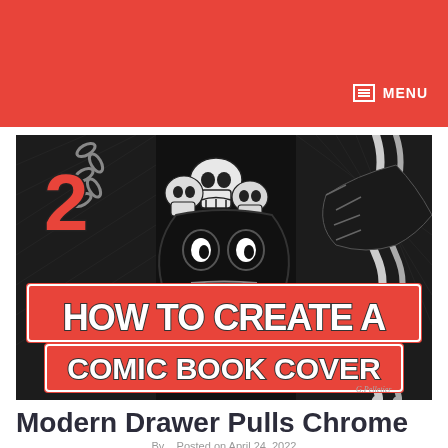MENU
[Figure (illustration): Black and white comic book cover artwork showing skulls, monsters and creatures with bold orange text reading '2 HOW TO CREATE A COMIC BOOK COVER']
Modern Drawer Pulls Chrome
By  Posted on April 24, 2022